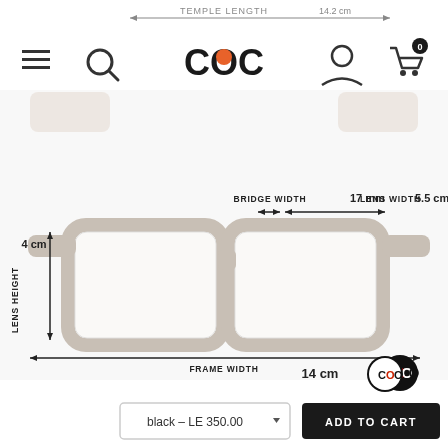[Figure (screenshot): COC eyewear brand website header with hamburger menu, search icon, COC logo with orange dot, user account icon, and cart icon showing 0 items. Below is a product image of white/cream eyeglasses frames with dimension annotations: Temple Length 14.2 cm, Bridge Width 17 mm, Lens Width 5.5 cm, Lens Height 4 cm, Frame Width 14 cm. COO logo badge in bottom right. Below the product image is an add-to-cart section with a dropdown showing 'black - LE 350.00' and a black 'ADD TO CART' button.]